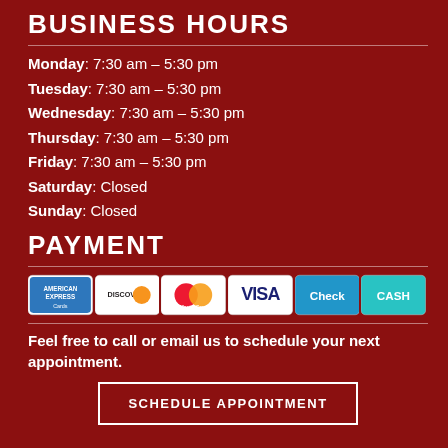BUSINESS HOURS
Monday: 7:30 am – 5:30 pm
Tuesday: 7:30 am – 5:30 pm
Wednesday: 7:30 am – 5:30 pm
Thursday: 7:30 am – 5:30 pm
Friday: 7:30 am – 5:30 pm
Saturday: Closed
Sunday: Closed
PAYMENT
[Figure (infographic): Payment method icons: American Express, Discover, MasterCard, Visa, Check, Cash]
Feel free to call or email us to schedule your next appointment.
SCHEDULE APPOINTMENT